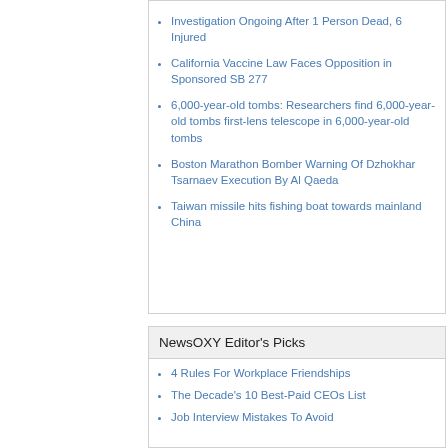Investigation Ongoing After 1 Person Dead, 6 Injured
California Vaccine Law Faces Opposition in Sponsored SB 277
6,000-year-old tombs: Researchers find 6,000-year-old tombs first-lens telescope in 6,000-year-old tombs
Boston Marathon Bomber Warning Of Dzhokhar Tsarnaev Execution By Al Qaeda
Taiwan missile hits fishing boat towards mainland China
NewsOXY Editor's Picks
4 Rules For Workplace Friendships
The Decade's 10 Best-Paid CEOs List
Job Interview Mistakes To Avoid